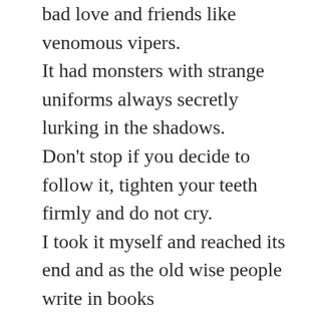bad love and friends like venomous vipers.
It had monsters with strange uniforms always secretly lurking in the shadows.
Don't stop if you decide to follow it, tighten your teeth firmly and do not cry.
I took it myself and reached its end and as the old wise people write in books
when the sun reaches its end,